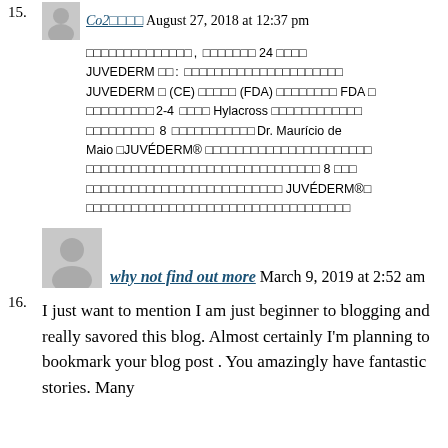15. Co2□□□□ August 27, 2018 at 12:37 pm — [corrupted Japanese text block with JUVEDERM, CE, FDA, 2-4, Hylacross, 8, Dr. Mauricio de Maio, JUVÉDERM® references]
16. why not find out more March 9, 2019 at 2:52 am — I just want to mention I am just beginner to blogging and really savored this blog. Almost certainly I'm planning to bookmark your blog post . You amazingly have fantastic stories. Many...